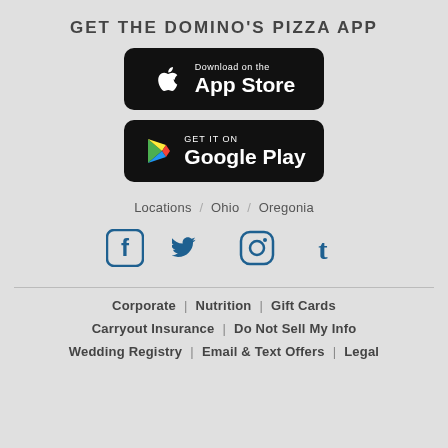GET THE DOMINO'S PIZZA APP
[Figure (other): Download on the App Store button (black rounded rectangle with Apple logo)]
[Figure (other): Get it on Google Play button (black rounded rectangle with Google Play logo)]
Locations / Ohio / Oregonia
[Figure (other): Social media icons: Facebook, Twitter, Instagram, Tumblr]
Corporate | Nutrition | Gift Cards
Carryout Insurance | Do Not Sell My Info
Wedding Registry | Email & Text Offers | Legal